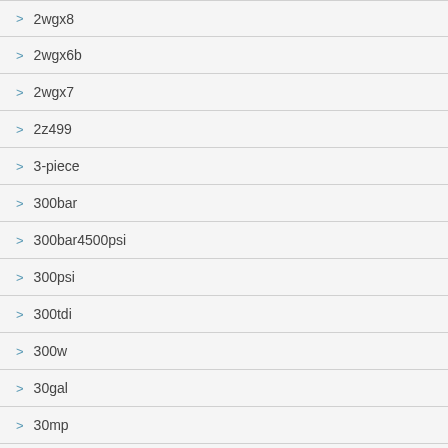> 2wgx8
> 2wgx6b
> 2wgx7
> 2z499
> 3-piece
> 300bar
> 300bar4500psi
> 300psi
> 300tdi
> 300w
> 30gal
> 30mp
> 30mpa